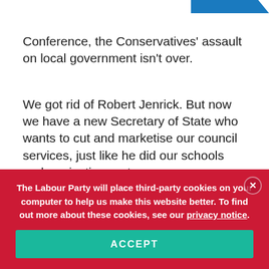Conference, the Conservatives' assault on local government isn't over.
We got rid of Robert Jenrick. But now we have a new Secretary of State who wants to cut and marketise our council services, just like he did our schools and our justice system.
The Labour Party will place third-party cookies on your computer to help us make this website better. To find out more about these cookies, see our privacy notice.
ACCEPT